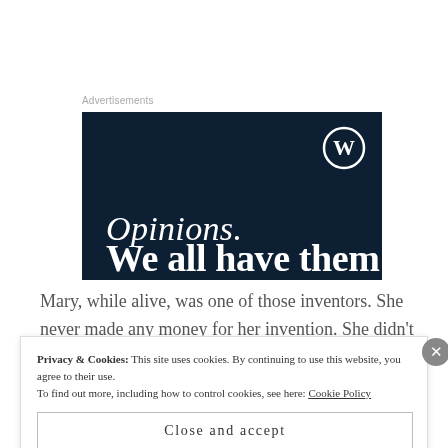Advertisements
[Figure (illustration): WordPress advertisement banner with dark navy background showing WordPress logo (circle W), text 'Opinions.' in italic white serif font, and 'We all have them!' in bold white serif font partially cut off at bottom.]
Mary, while alive, was one of those inventors. She never made any money for her invention. She didn't take on the fledging auto industry and as far as I'm aware, she's never had a movie made about her.
Privacy & Cookies: This site uses cookies. By continuing to use this website, you agree to their use.
To find out more, including how to control cookies, see here: Cookie Policy
Close and accept